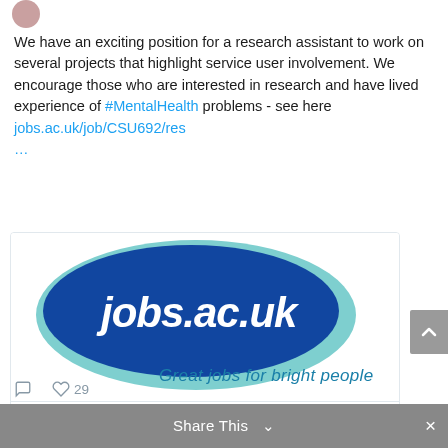We have an exciting position for a research assistant to work on several projects that highlight service user involvement. We encourage those who are interested in research and have lived experience of #MentalHealth problems - see here jobs.ac.uk/job/CSU692/res …
[Figure (logo): jobs.ac.uk logo — blue teardrop/oval shape with white italic text 'jobs.ac.uk' and lighter blue border, tagline 'Great jobs for bright people' in teal italic below]
jobs.ac.uk
Research Assistant at King's College London
Share This  ✕